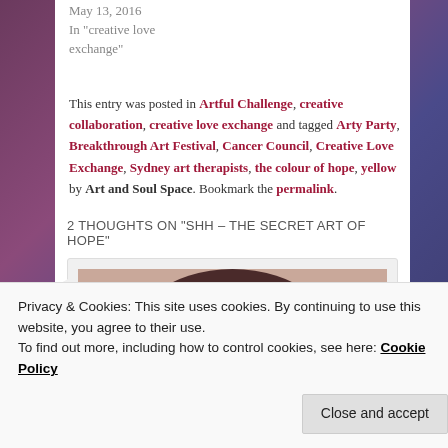May 13, 2016
In "creative love exchange"
This entry was posted in Artful Challenge, creative collaboration, creative love exchange and tagged Arty Party, Breakthrough Art Festival, Cancer Council, Creative Love Exchange, Sydney art therapists, the colour of hope, yellow by Art and Soul Space. Bookmark the permalink.
2 THOUGHTS ON "SHH – THE SECRET ART OF HOPE"
[Figure (photo): User avatar photo of a woman with red glasses and dark hair]
Privacy & Cookies: This site uses cookies. By continuing to use this website, you agree to their use.
To find out more, including how to control cookies, see here: Cookie Policy